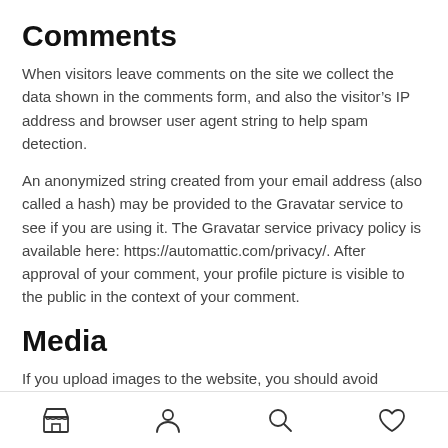Comments
When visitors leave comments on the site we collect the data shown in the comments form, and also the visitor's IP address and browser user agent string to help spam detection.
An anonymized string created from your email address (also called a hash) may be provided to the Gravatar service to see if you are using it. The Gravatar service privacy policy is available here: https://automattic.com/privacy/. After approval of your comment, your profile picture is visible to the public in the context of your comment.
Media
If you upload images to the website, you should avoid uploading images with embedded location data (EXIF GPS) included. Visitors to the website can download and extract any
[navigation icons: store, person, search, heart]